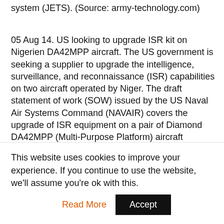system (JETS). (Source: army-technology.com)
05 Aug 14. US looking to upgrade ISR kit on Nigerien DA42MPP aircraft. The US government is seeking a supplier to upgrade the intelligence, surveillance, and reconnaissance (ISR) capabilities on two aircraft operated by Niger. The draft statement of work (SOW) issued by the US Naval Air Systems Command (NAVAIR) covers the upgrade of ISR equipment on a pair of Diamond DA42MPP (Multi-Purpose Platform) aircraft currently fielded by the Niger Air Force (Armee de l'Air du Niger). As well as the upgrade to the two aircraft, the draft SOW also calls for providing two fixed ground stations and
This website uses cookies to improve your experience. If you continue to use the website, we'll assume you're ok with this.